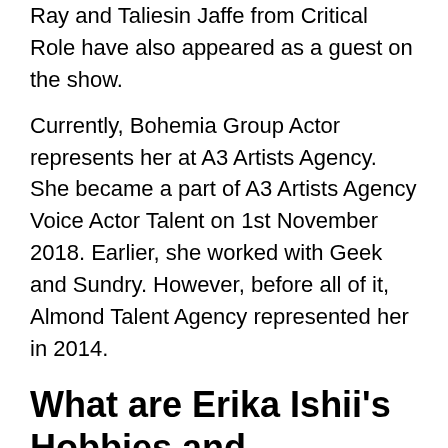Ray and Taliesin Jaffe from Critical Role have also appeared as a guest on the show.
Currently, Bohemia Group Actor represents her at A3 Artists Agency. She became a part of A3 Artists Agency Voice Actor Talent on 1st November 2018. Earlier, she worked with Geek and Sundry. However, before all of it, Almond Talent Agency represented her in 2014.
What are Erika Ishii's Hobbies and Interests?
For the times when the voice actor Erika is not performing, you can find her surrounded by plenty of things that she is fond of. She likes acting, Japanese dance, cosplay, literature, and